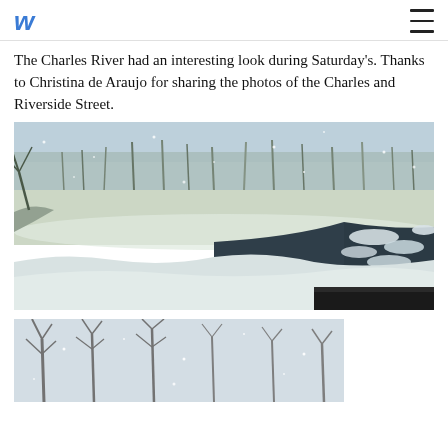w (website logo) with hamburger menu
The Charles River had an interesting look during Saturday's. Thanks to Christina de Araujo for sharing the photos of the Charles and Riverside Street.
[Figure (photo): Winter scene of the Charles River with snow-covered banks, bare trees in background, dark water with ice chunks, taken during a snowstorm]
[Figure (photo): Snowy winter scene with bare trees visible through snowfall, partially visible second photo]